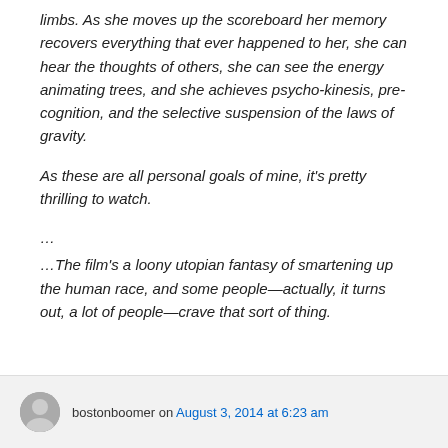limbs. As she moves up the scoreboard her memory recovers everything that ever happened to her, she can hear the thoughts of others, she can see the energy animating trees, and she achieves psycho-kinesis, pre-cognition, and the selective suspension of the laws of gravity.
As these are all personal goals of mine, it's pretty thrilling to watch.
…
…The film's a loony utopian fantasy of smartening up the human race, and some people—actually, it turns out, a lot of people—crave that sort of thing.
bostonboomer on August 3, 2014 at 6:23 am